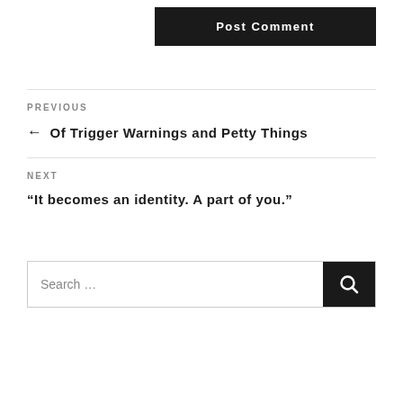Post Comment
PREVIOUS
← Of Trigger Warnings and Petty Things
NEXT
“It becomes an identity. A part of you.”
Search …